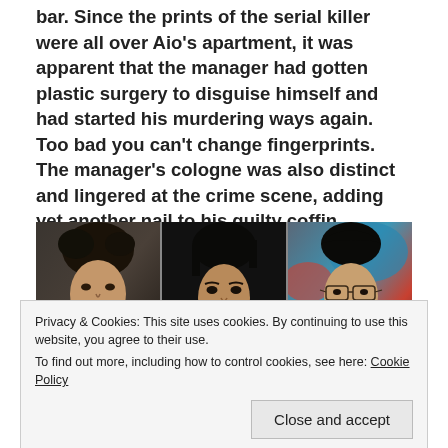bar. Since the prints of the serial killer were all over Aio's apartment, it was apparent that the manager had gotten plastic surgery to disguise himself and had started his murdering ways again. Too bad you can't change fingerprints. The manager's cologne was also distinct and lingered at the crime scene, adding yet another nail to his guilty coffin.
[Figure (photo): Three side-by-side screenshot panels from a Japanese drama/film showing three different male actors in close-up shots with dark/moody lighting.]
Privacy & Cookies: This site uses cookies. By continuing to use this website, you agree to their use.
To find out more, including how to control cookies, see here: Cookie Policy
away without arresting him. Tatsuya pulls out a gun